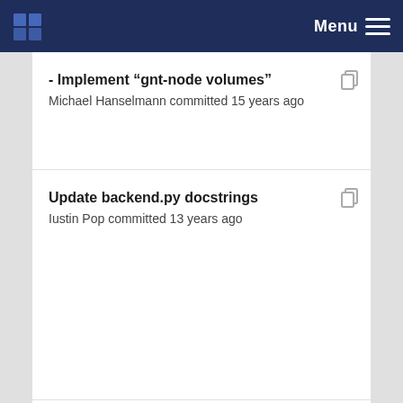Menu
- Implement “gnt-node volumes”
Michael Hanselmann committed 15 years ago
Update backend.py docstrings
Iustin Pop committed 13 years ago
- Implement “gnt-node volumes” (partial, cut off)